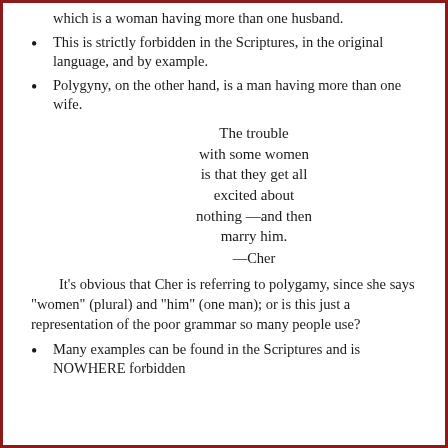which is a woman having more than one husband.
This is strictly forbidden in the Scriptures, in the original language, and by example.
Polygyny, on the other hand, is a man having more than one wife.
The trouble with some women is that they get all excited about nothing —and then marry him.
—Cher
It's obvious that Cher is referring to polygamy, since she says "women" (plural) and "him" (one man); or is this just a representation of the poor grammar so many people use?
Many examples can be found in the Scriptures and is NOWHERE forbidden...